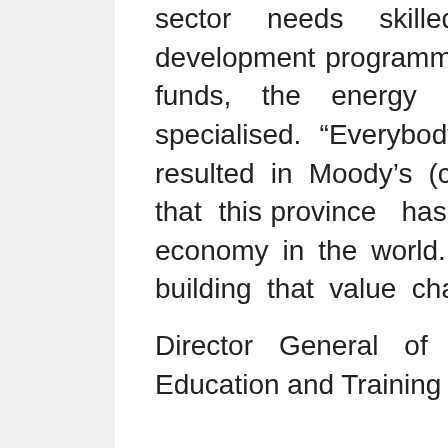sector needs skilled labour. While skills development programmes provide much needed funds, the energy sector needs are highly specialised. “Everybody working together has resulted in Moody’s (credit rating agency) saying that this province has the fastest growing green economy in the world. Saretec is a critical link in building that value chain,” said Zille.
Director General of the Department of Higher Education and Training Gwebs Qonde said the...